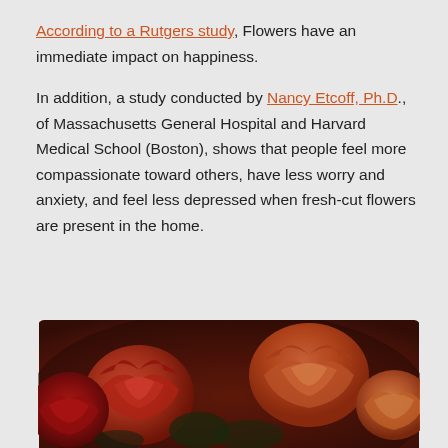According to a Rutgers study, Flowers have an immediate impact on happiness.

In addition, a study conducted by Nancy Etcoff, Ph.D., of Massachusetts General Hospital and Harvard Medical School (Boston), shows that people feel more compassionate toward others, have less worry and anxiety, and feel less depressed when fresh-cut flowers are present in the home.
[Figure (photo): Close-up photograph of red and orange roses in bloom]